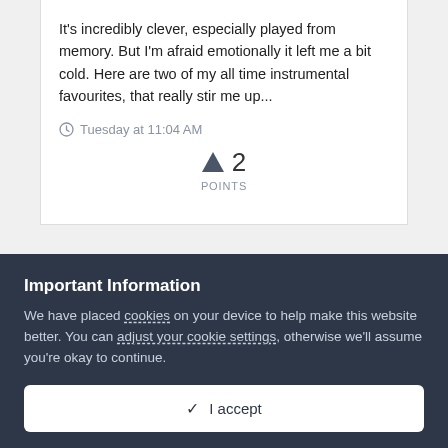It's incredibly clever, especially played from memory. But I'm afraid emotionally it left me a bit cold. Here are two of my all time instrumental favourites, that really stir me up...
Tuesday at 11:04 AM
2 POINTS
[Figure (photo): Circular avatar photo of a person in black and white]
Important Information
We have placed cookies on your device to help make this website better. You can adjust your cookie settings, otherwise we'll assume you're okay to continue.
I accept